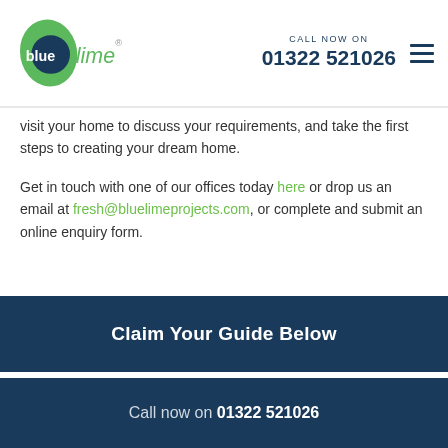blue lime® CALL NOW ON 01322 521026
visit your home to discuss your requirements, and take the first steps to creating your dream home.

Get in touch with one of our offices today here or drop us an email at fresh@bluelimeprojects.com, or complete and submit an online enquiry form.
Claim Your Guide Below
Call now on 01322 521026